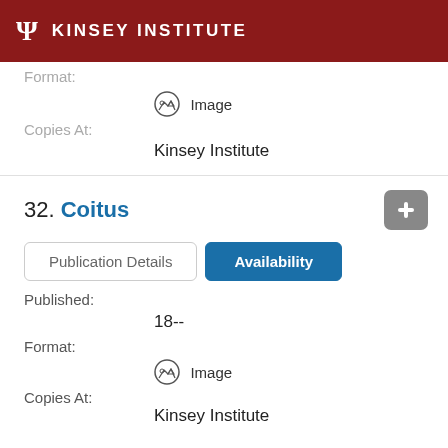Ψ KINSEY INSTITUTE
Format:
[Figure (illustration): Mountain/image icon with circle border]
Image
Copies At:
Kinsey Institute
32. Coitus
Publication Details  Availability
Published:
18--
Format:
[Figure (illustration): Mountain/image icon with circle border]
Image
Copies At:
Kinsey Institute